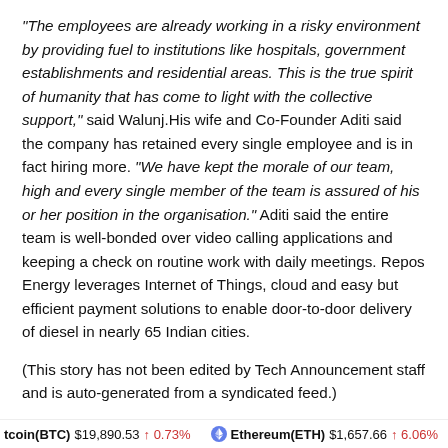"The employees are already working in a risky environment by providing fuel to institutions like hospitals, government establishments and residential areas. This is the true spirit of humanity that has come to light with the collective support," said Walunj.His wife and Co-Founder Aditi said the company has retained every single employee and is in fact hiring more. "We have kept the morale of our team, high and every single member of the team is assured of his or her position in the organisation." Aditi said the entire team is well-bonded over video calling applications and keeping a check on routine work with daily meetings. Repos Energy leverages Internet of Things, cloud and easy but efficient payment solutions to enable door-to-door delivery of diesel in nearly 65 Indian cities.
(This story has not been edited by Tech Announcement staff and is auto-generated from a syndicated feed.)
— ANI
Please follow and like us:
Bitcoin(BTC) $19,890.53 ↑ 0.73%   Ethereum(ETH) $1,657.66 ↑ 6.06%